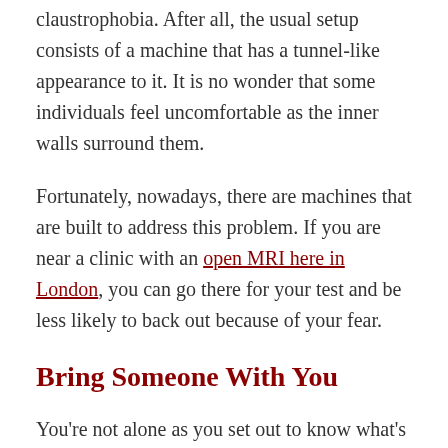claustrophobia. After all, the usual setup consists of a machine that has a tunnel-like appearance to it. It is no wonder that some individuals feel uncomfortable as the inner walls surround them.
Fortunately, nowadays, there are machines that are built to address this problem. If you are near a clinic with an open MRI here in London, you can go there for your test and be less likely to back out because of your fear.
Bring Someone With You
You're not alone as you set out to know what's going on with your body. There's nothing wrong with having a close friend or family